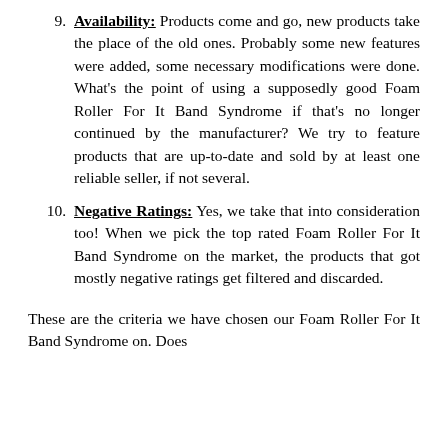9. Availability: Products come and go, new products take the place of the old ones. Probably some new features were added, some necessary modifications were done. What's the point of using a supposedly good Foam Roller For It Band Syndrome if that's no longer continued by the manufacturer? We try to feature products that are up-to-date and sold by at least one reliable seller, if not several.
10. Negative Ratings: Yes, we take that into consideration too! When we pick the top rated Foam Roller For It Band Syndrome on the market, the products that got mostly negative ratings get filtered and discarded.
These are the criteria we have chosen our Foam Roller For It Band Syndrome on. Does